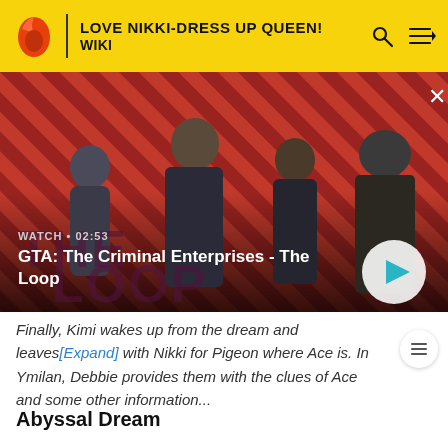LOVE NIKKI-DRESS UP QUEEN! WIKI
[Figure (screenshot): GTA: The Criminal Enterprises - The Loop video thumbnail with four game characters on a red diagonal striped background. Shows WATCH • 02:53 label and play button.]
Finally, Kimi wakes up from the dream and leaves [Expand] with Nikki for Pigeon where Ace is. In Ymilan, Debbie provides them with the clues of Ace and some other information...
Abyssal Dream